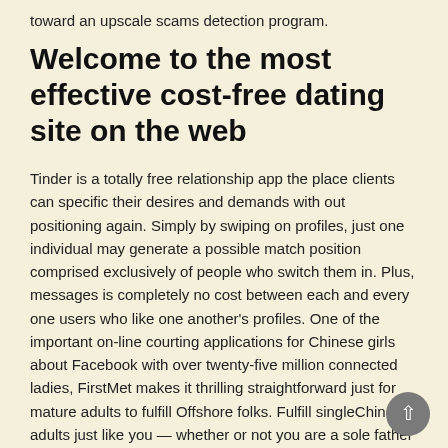toward an upscale scams detection program.
Welcome to the most effective cost-free dating site on the web
Tinder is a totally free relationship app the place clients can specific their desires and demands with out positioning again. Simply by swiping on profiles, just one individual may generate a possible match position comprised exclusively of people who switch them in. Plus, messages is completely no cost between each and every one users who like one another's profiles. One of the important on-line courting applications for Chinese girls about Facebook with over twenty-five million connected ladies, FirstMet makes it thrilling straightforward just for mature adults to fulfill Offshore folks. Fulfill singleChinese adults just like you — whether or not you are a sole father or mother, divorced, separated, or have in no way been committed.